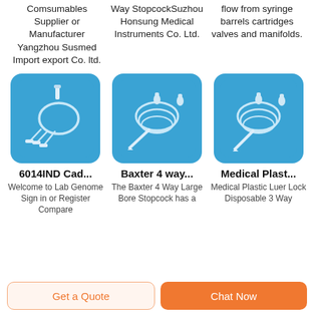Comsumables Supplier or Manufacturer Yangzhou Susmed Import export Co. ltd.
Way StopcockSuzhou Honsung Medical Instruments Co. Ltd.
flow from syringe barrels cartridges valves and manifolds.
[Figure (photo): Medical IV set/catheter tubing on blue background]
[Figure (photo): Baxter 4 way large bore stopcock on blue background]
[Figure (photo): Medical plastic luer lock disposable 3 way stopcock on blue background]
6014IND Cad...
Baxter 4 way...
Medical Plast...
Welcome to Lab Genome Sign in or Register Compare
The Baxter 4 Way Large Bore Stopcock has a
Medical Plastic Luer Lock Disposable 3 Way
Get a Quote
Chat Now